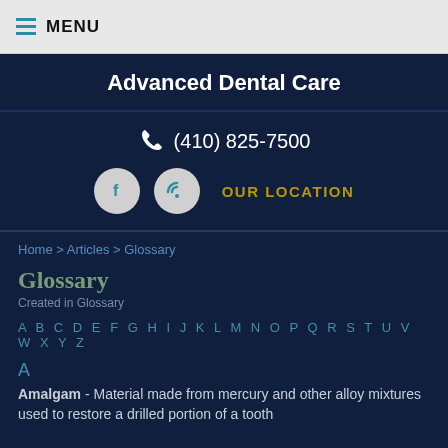MENU
Advanced Dental Care
(410) 825-7500
OUR LOCATION
Home > Articles > Glossary
Glossary
Created in Glossary
A B C D E F G H I J K L M N O P Q R S T U V W X Y Z
A
Amalgam - Material made from mercury and other alloy mixtures used to restore a drilled portion of a tooth